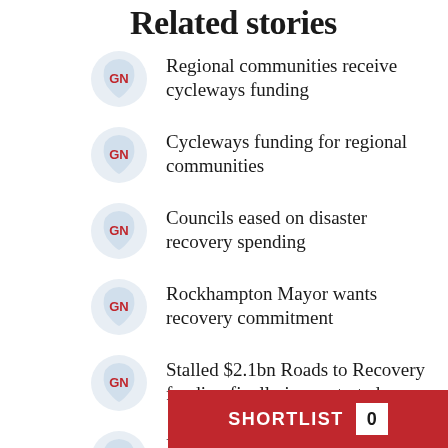Related stories
Regional communities receive cycleways funding
Cycleways funding for regional communities
Councils eased on disaster recovery spending
Rockhampton Mayor wants recovery commitment
Stalled $2.1bn Roads to Recovery funding finally jump-started
Planners w... cycleways